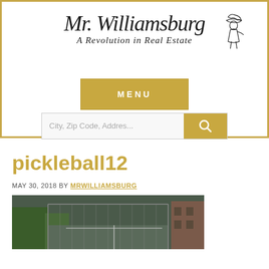[Figure (logo): Mr. Williamsburg - A Revolution in Real Estate logo with colonial figure illustration]
MENU
City, Zip Code, Addres...
pickleball12
MAY 30, 2018 BY MRWILLIAMSBURG
[Figure (photo): Outdoor pickleball court photo]